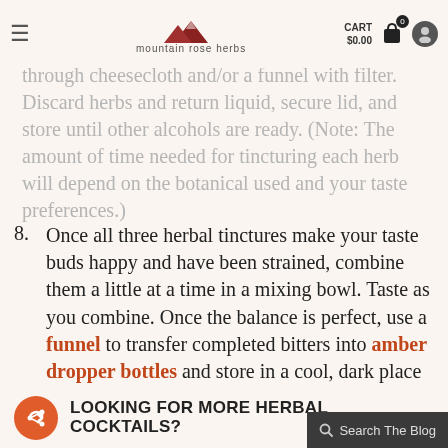mountain rose herbs — CART $0.00
through cheesecloth and/or a funnel with filter. Discard herbs and return liquid, secure lid, and store until other alcohols are ready. (Note: The amount of time needed for tincturing each herb will depend on the botanical used and your taste preferences.)
8. Once all three herbal tinctures make your taste buds happy and have been strained, combine them a little at a time in a mixing bowl. Taste as you combine. Once the balance is perfect, use a funnel to transfer completed bitters into amber dropper bottles and store in a cool, dark place for up to a year (or more). Don't forget to label your herbal creation!
LOOKING FOR MORE HERBAL COCKTAILS?
Search The Blog